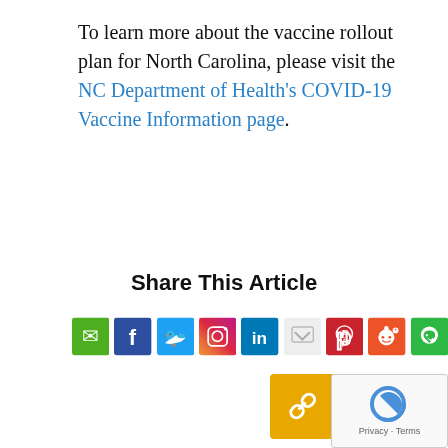To learn more about the vaccine rollout plan for North Carolina, please visit the NC Department of Health's COVID-19 Vaccine Information page.
Share This Article
[Figure (infographic): Social media sharing icons row: Email (green), Facebook (dark blue), Twitter (blue), Instagram (purple/orange gradient), LinkedIn (blue), Pocket (gray), Pinterest (red), Reddit (orange-red), WhatsApp (green), and a link/copy icon (yellow/gold)]
Scroll down to make a comment.
SUPPORT THE LOCAL REPORTER
Subscribe for free to the community's ONLY local nonprofit news source! Support local journalism by becoming a sustaining...